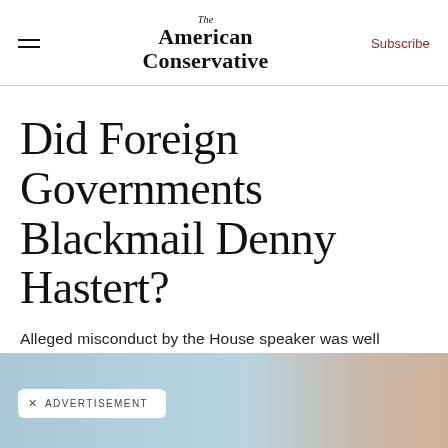The American Conservative | Subscribe
Did Foreign Governments Blackmail Denny Hastert?
Alleged misconduct by the House speaker was well known to the FBI—and to Turkey and Israel.
[Figure (other): Advertisement banner at the bottom of the page with a light blue background and a partial image of a blurred dark object. An overlay box reads 'X ADVERTISEMENT'.]